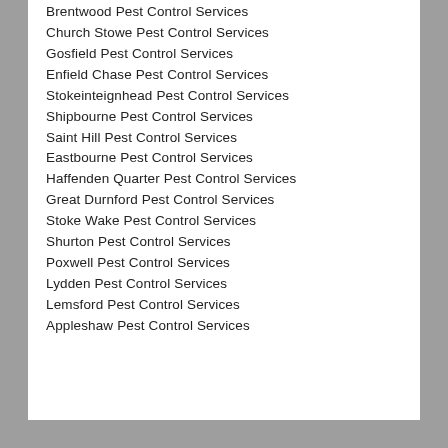Brentwood Pest Control Services
Church Stowe Pest Control Services
Gosfield Pest Control Services
Enfield Chase Pest Control Services
Stokeinteignhead Pest Control Services
Shipbourne Pest Control Services
Saint Hill Pest Control Services
Eastbourne Pest Control Services
Haffenden Quarter Pest Control Services
Great Durnford Pest Control Services
Stoke Wake Pest Control Services
Shurton Pest Control Services
Poxwell Pest Control Services
Lydden Pest Control Services
Lemsford Pest Control Services
Appleshaw Pest Control Services